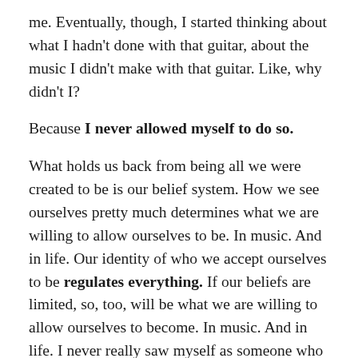me. Eventually, though, I started thinking about what I hadn't done with that guitar, about the music I didn't make with that guitar. Like, why didn't I?
Because I never allowed myself to do so.
What holds us back from being all we were created to be is our belief system. How we see ourselves pretty much determines what we are willing to allow ourselves to be. In music. And in life. Our identity of who we accept ourselves to be regulates everything. If our beliefs are limited, so, too, will be what we are willing to allow ourselves to become. In music. And in life. I never really saw myself as someone who could confidently play the guitar, and I met those expectations with precision.